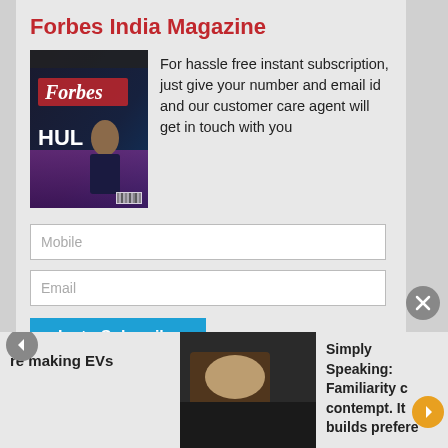Forbes India Magazine
For hassle free instant subscription, just give your number and email id and our customer care agent will get in touch with you
[Figure (photo): Forbes India magazine cover showing a man in a business suit seated, with 'HUL' text visible on the cover]
Mobile
Email
Insta-Subscribe
OR
click here to Subscribe Online
re making EVs
Simply Speaking: Familiarity c contempt. It builds prefere